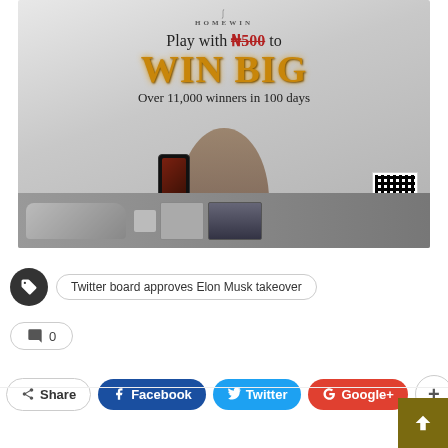[Figure (illustration): Homewin advertisement: 'Play with ₦500 to WIN BIG – Over 11,000 winners in 100 days'. Shows a woman holding a smartphone with the Homewin app, a QR code labeled SCAN TO PLAY, and prizes including a car, appliances, and cash.]
Twitter board approves Elon Musk takeover
0
Share   Facebook   Twitter   Google+